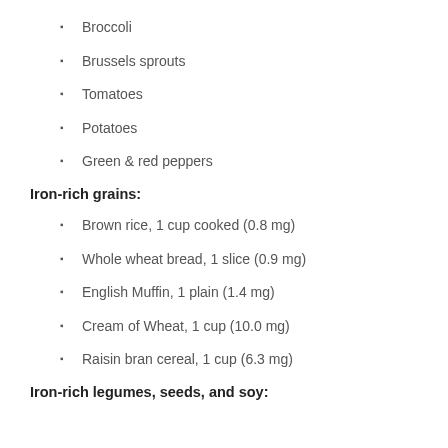Broccoli
Brussels sprouts
Tomatoes
Potatoes
Green & red peppers
Iron-rich grains:
Brown rice, 1 cup cooked (0.8 mg)
Whole wheat bread, 1 slice (0.9 mg)
English Muffin, 1 plain (1.4 mg)
Cream of Wheat, 1 cup (10.0 mg)
Raisin bran cereal, 1 cup (6.3 mg)
Iron-rich legumes, seeds, and soy: